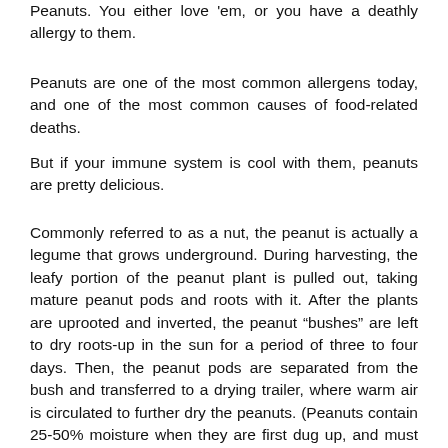Peanuts. You either love 'em, or you have a deathly allergy to them.
Peanuts are one of the most common allergens today, and one of the most common causes of food-related deaths.
But if your immune system is cool with them, peanuts are pretty delicious.
Commonly referred to as a nut, the peanut is actually a legume that grows underground. During harvesting, the leafy portion of the peanut plant is pulled out, taking mature peanut pods and roots with it. After the plants are uprooted and inverted, the peanut “bushes” are left to dry roots-up in the sun for a period of three to four days. Then, the peanut pods are separated from the bush and transferred to a drying trailer, where warm air is circulated to further dry the peanuts. (Peanuts contain 25-50% moisture when they are first dug up, and must contain less than 10% moisture in order to be stored without risk of spoiling.) Once they are sufficiently dried, the peanuts are distributed to various manufacturers